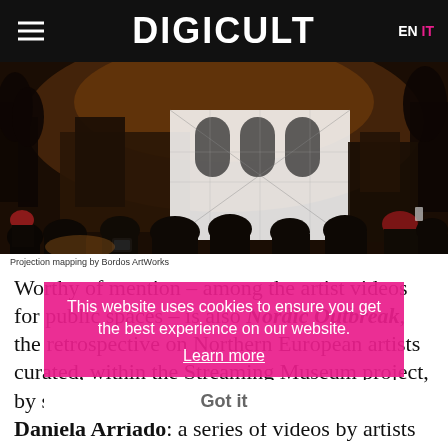DIGICULT  EN  IT
[Figure (photo): Night scene of a crowd watching projection mapping on a church/cathedral building, showing gothic architecture illuminated with black and white geometric projections, people silhouetted in the foreground]
Projection mapping by Bordos ArtWorks
This website uses cookies to ensure you get the best experience on our website. Learn more
Got it
Worthy of mention – among the artist videos for public spaces – is also Nordic Outbreak, the retrospective on Northern European artists curated, within the Streaming Museum project, by scholar Tanya Toft and by director Daniela Arriado: a series of videos by artists coming from Iceland,